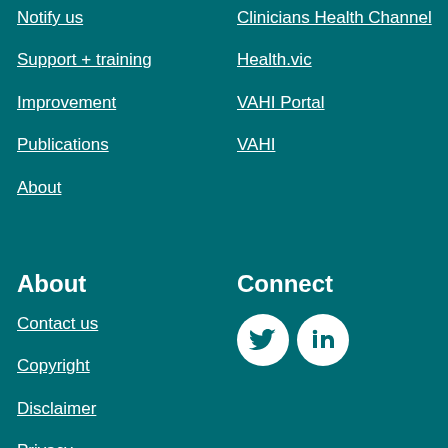Notify us
Support + training
Improvement
Publications
About
Clinicians Health Channel
Health.vic
VAHI Portal
VAHI
About
Contact us
Copyright
Disclaimer
Privacy
Connect
[Figure (illustration): Twitter and LinkedIn social media icons as white circles with teal bird and 'in' symbols respectively]